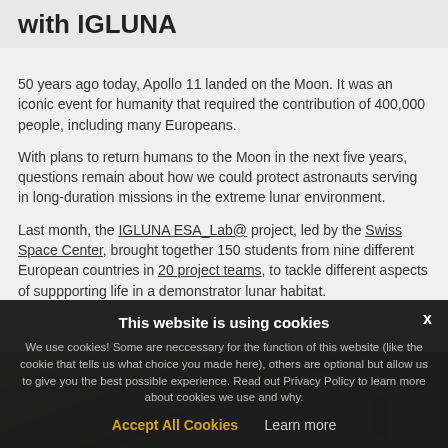with IGLUNA
50 years ago today, Apollo 11 landed on the Moon. It was an iconic event for humanity that required the contribution of 400,000 people, including many Europeans.
With plans to return humans to the Moon in the next five years, questions remain about how we could protect astronauts serving in long-duration missions in the extreme lunar environment.
Last month, the IGLUNA ESA_Lab@ project, led by the Swiss Space Center, brought together 150 students from nine different European countries in 20 project teams, to tackle different aspects of suppporting life in a demonstrator lunar habitat.
[Figure (photo): Photograph of a lunar or rocky terrain scene, sepia/dark toned, with a silhouette figure visible on the right side.]
This website is using cookies
We use cookies! Some are neccessary for the function of this website (like the cookie that tells us what choice you made here), others are optional but allow us to give you the best possible experience. Read out Privacy Policy to learn more about cookies we use and why.
Accept All Cookies   Learn more